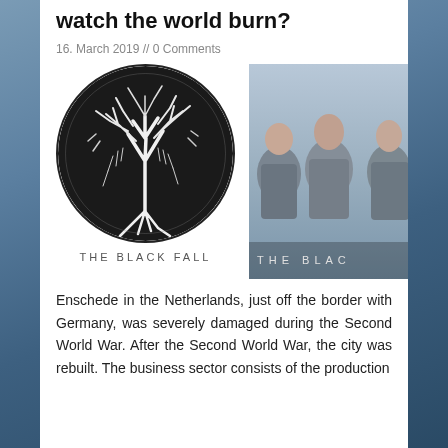watch the world burn?
16. March 2019 // 0 Comments
[Figure (illustration): Circular black and white logo/artwork for 'The Black Fall' band — an abstract tree with branches and roots forming a circle, black and white woodcut style]
[Figure (photo): Three men standing side by side against a light blue/grey background — band promotional photo for The Black Fall]
THE BLACK FALL
Enschede in the Netherlands, just off the border with Germany, was severely damaged during the Second World War. After the Second World War, the city was rebuilt. The business sector consists of the production